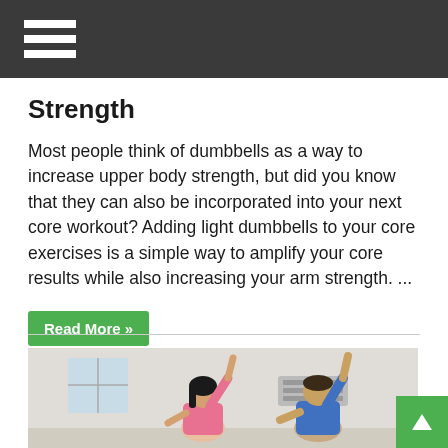Strength
Most people think of dumbbells as a way to increase upper body strength, but did you know that they can also be incorporated into your next core workout? Adding light dumbbells to your core exercises is a simple way to amplify your core results while also increasing your arm strength. ...
Read More »
[Figure (photo): Two people — a woman in pink and a man in blue — doing stretching exercises with one arm raised, in an indoor setting.]